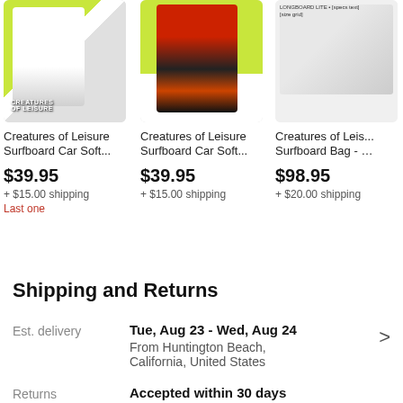[Figure (photo): Creatures of Leisure surfboard car soft rack product image - item 1]
Creatures of Leisure Surfboard Car Soft...
$39.95
+ $15.00 shipping
Last one
[Figure (photo): Creatures of Leisure surfboard car soft rack product image - item 2]
Creatures of Leisure Surfboard Car Soft...
$39.95
+ $15.00 shipping
[Figure (photo): Creatures of Leisure Surfboard Bag product image - item 3 (partially visible)]
Creatures of Leis... Surfboard Bag - ...
$98.95
+ $20.00 shipping
Shipping and Returns
Est. delivery
Tue, Aug 23 - Wed, Aug 24
From Huntington Beach, California, United States
Returns
Accepted within 30 days
Buyer pays return shipping